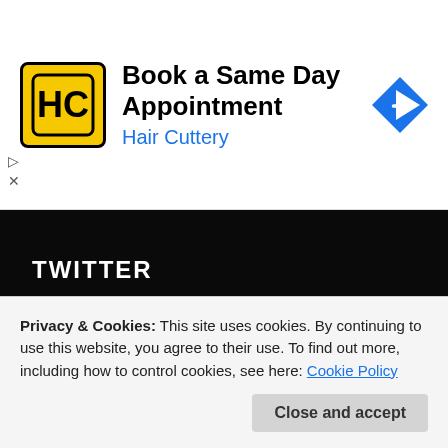[Figure (screenshot): Hair Cuttery advertisement banner with HC logo, 'Book a Same Day Appointment' heading, 'Hair Cuttery' subtitle in blue, and a blue diamond navigation icon on the right. Small play and X controls on the left.]
TWITTER
[Figure (screenshot): Twitter widget card showing 'Tweets from @lisashea_hivol' with a retweet entry from Lisa Shea Unabridged, a user avatar, and a partially visible user name, with Twitter bird icon.]
Privacy & Cookies: This site uses cookies. By continuing to use this website, you agree to their use. To find out more, including how to control cookies, see here: Cookie Policy
Close and accept